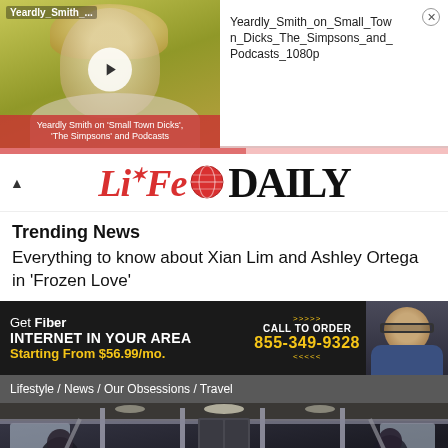[Figure (screenshot): Video thumbnail of Yeardly Smith on Small Town Dicks, The Simpsons and Podcasts at 1080p, showing a woman with blonde hair on a yellow-green background with a play button overlay]
Yeardly_Smith_on_Small_Town_Dicks_The_Simpsons_and_Podcasts_1080p
[Figure (logo): Life Daily logo with red stylized LIFE text and globe icon, followed by DAILY in black serif]
Trending News
Everything to know about Xian Lim and Ashley Ortega in ‘Frozen Love’
[Figure (screenshot): Advertisement for Fiber Internet: Get Fiber INTERNET IN YOUR AREA Starting From $56.99/mo. CALL TO ORDER 855-349-9328]
Lifestyle / News / Our Obsessions / Travel
[Figure (photo): Interior of a subway/metro car with passengers seated and standing, metal poles, fluorescent lighting]